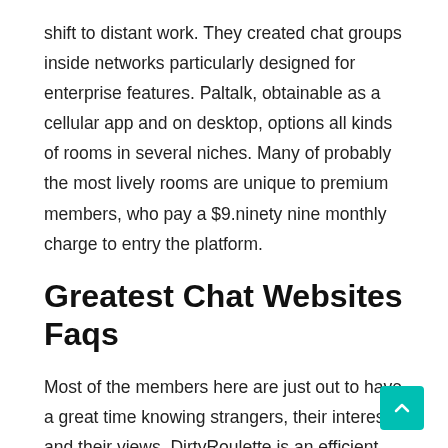shift to distant work. They created chat groups inside networks particularly designed for enterprise features. Paltalk, obtainable as a cellular app and on desktop, options all kinds of rooms in several niches. Many of probably the most lively rooms are unique to premium members, who pay a $9.ninety nine monthly charge to entry the platform.
Greatest Chat Websites Faqs
Most of the members here are just out to have a great time knowing strangers, their interests, and their views. DirtyRoulette is an efficient site general if you're specifically on the lookout for men to talk with. The options work nice for his or her setting and are additionally decently priced. Grazing at DR isn't completely clean because the minimal filters don't offer enough parameters to help streamline your search. Most of the free options are very primary, so you should contemplate a paid plan if you'd like a better experience.